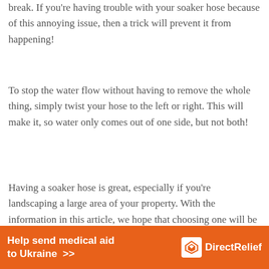break. If you're having trouble with your soaker hose because of this annoying issue, then a trick will prevent it from happening!
To stop the water flow without having to remove the whole thing, simply twist your hose to the left or right. This will make it, so water only comes out of one side, but not both!
Having a soaker hose is great, especially if you're landscaping a large area of your property. With the information in this article, we hope that choosing one will be easy for you!
Soaker Hose FAQ's
What is the best way to water my garden?
[Figure (infographic): Orange banner advertisement for Direct Relief: 'Help send medical aid to Ukraine >>' with Direct Relief logo on the right]